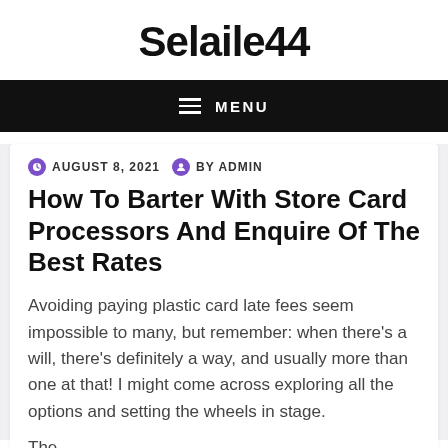Selaile44
MENU
AUGUST 8, 2021   BY ADMIN
How To Barter With Store Card Processors And Enquire Of The Best Rates
Avoiding paying plastic card late fees seem impossible to many, but remember: when there’s a will, there’s definitely a way, and usually more than one at that! I might come across exploring all the options and setting the wheels in stage.
The...